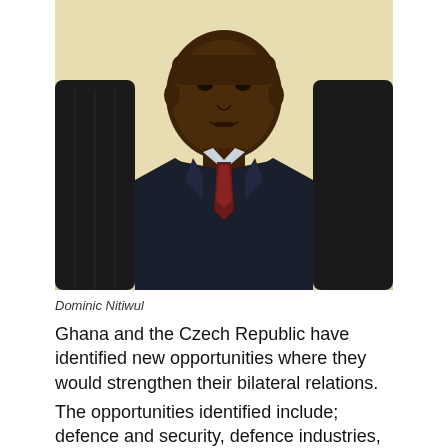[Figure (photo): Dominic Nitiwul, a man in a dark suit and red tie, seated in a black leather chair, speaking]
Dominic Nitiwul
Ghana and the Czech Republic have identified new opportunities where they would strengthen their bilateral relations.
The opportunities identified include; defence and security, defence industries, modern equipment exports to Ghana by the Czech Republic and